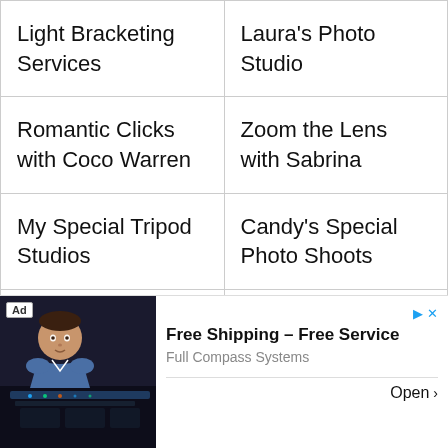| Light Bracketing Services | Laura's Photo Studio |
| Romantic Clicks with Coco Warren | Zoom the Lens with Sabrina |
| My Special Tripod Studios | Candy's Special Photo Shoots |
| Strike a Pose with the Masons | Peter's Lights and Flashes |
[Figure (other): Advertisement banner: man in blue shirt at audio mixing console in dark studio. Text: 'Ad', 'Free Shipping - Free Service', 'Full Compass Systems', 'Open >']